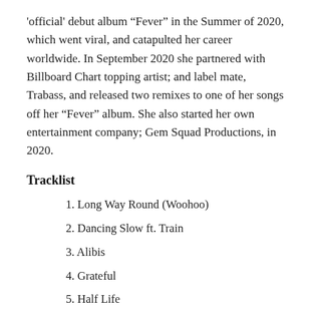'official' debut album “Fever” in the Summer of 2020, which went viral, and catapulted her career worldwide. In September 2020 she partnered with Billboard Chart topping artist; and label mate, Trabass, and released two remixes to one of her songs off her “Fever” album. She also started her own entertainment company; Gem Squad Productions, in 2020.
Tracklist
1. Long Way Round (Woohoo)
2. Dancing Slow ft. Train
3. Alibis
4. Grateful
5. Half Life